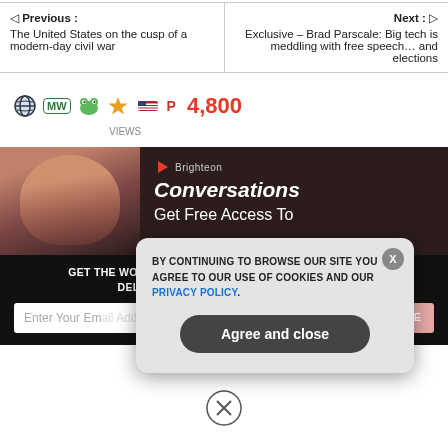Previous : The United States on the cusp of a modern-day civil war
Next : Exclusive – Brad Parscale: Big tech is meddling with free speech… and elections
4,800 VIEWS
[Figure (screenshot): Brighteon Conversations banner with man's face and text 'Get Free Access To']
GET THE WORLD'S BEST NATURAL HEALTH NEWSLETTER DELIVERED STRAIGHT TO YOUR INBOX
BY CONTINUING TO BROWSE OUR SITE YOU AGREE TO OUR USE OF COOKIES AND OUR PRIVACY POLICY.
Agree and close